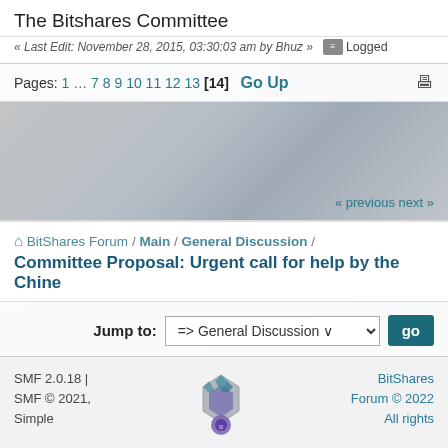The Bitshares Committee
« Last Edit: November 28, 2015, 03:30:03 am by Bhuz »   Logged
Pages: 1 … 7 8 9 10 11 12 13 [14]   Go Up
« previous next »
🏠 BitShares Forum / Main / General Discussion /
Committee Proposal: Urgent call for help by the Chine
Jump to:  => General Discussion ∨   go
SMF 2.0.18 | SMF © 2021, Simple      BitShares Forum © 2022 All rights